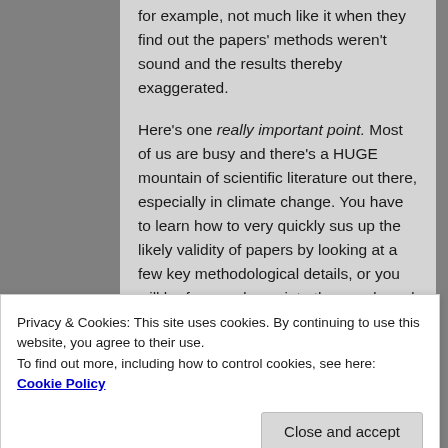for example, not much like it when they find out the papers' methods weren't sound and the results thereby exaggerated.
Here's one really important point. Most of us are busy and there's a HUGE mountain of scientific literature out there, especially in climate change. You have to learn how to very quickly sus up the likely validity of papers by looking at a few key methodological details, or you will be forever drawn into the weeds and waste you time. This is an enormously important skill. If a paper doesn't make it past my
Privacy & Cookies: This site uses cookies. By continuing to use this website, you agree to their use.
To find out more, including how to control cookies, see here: Cookie Policy
Close and accept
mean.